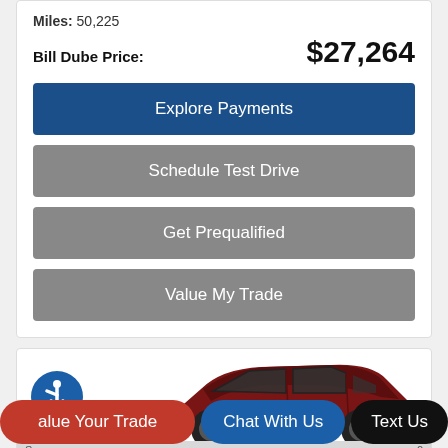Miles: 50,225
Bill Dube Price: $27,264
Explore Payments
Schedule Test Drive
Get Prequalified
Value My Trade
[Figure (screenshot): Partial view of a dark red/maroon car from the side, shown in a white card section below the pricing buttons. An accessibility icon (blue circle with wheelchair symbol) is visible on the left.]
Value Your Trade
Chat With Us
Text Us